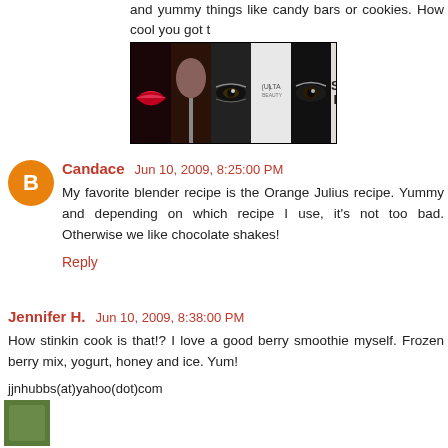and yummy things like candy bars or cookies. How cool you got to
[Figure (advertisement): ULTA beauty advertisement banner with makeup imagery and 'SHOP NOW' text]
Candace  Jun 10, 2009, 8:25:00 PM
My favorite blender recipe is the Orange Julius recipe. Yummy and depending on which recipe I use, it's not too bad. Otherwise we like chocolate shakes!
Reply
Jennifer H.  Jun 10, 2009, 8:38:00 PM
How stinkin cook is that!? I love a good berry smoothie myself. Frozen berry mix, yogurt, honey and ice. Yum!
jjnhubbs(at)yahoo(dot)com
Reply